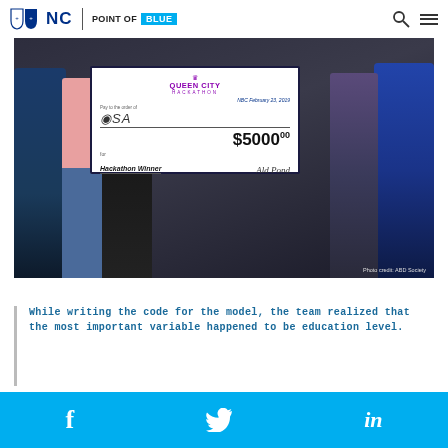NC | POINT OF BLUE
[Figure (photo): Group of people holding a large ceremonial check from Queen City Hackathon for $5000.00 made out to OSA, dated February 23, 2019, for Hackathon Winner. Photo credit: ABD Society.]
While writing the code for the model, the team realized that the most important variable happened to be education level.
Social media icons: Facebook, Twitter, LinkedIn